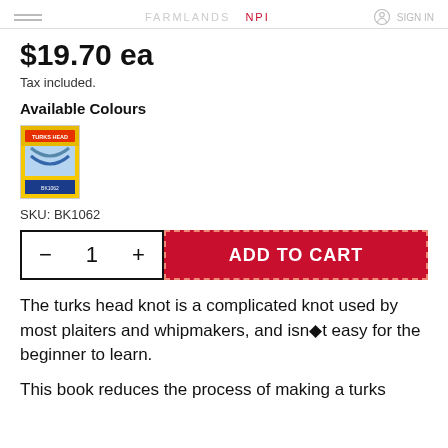SIGN IN
$19.70 ea
Tax included.
Available Colours
[Figure (illustration): Book cover thumbnail showing a yellow and blue book about Turks Head knots]
SKU: BK1062
— 1 + ADD TO CART
The turks head knot is a complicated knot used by most plaiters and whipmakers, and isn't easy for the beginner to learn.
This book reduces the process of making a turks